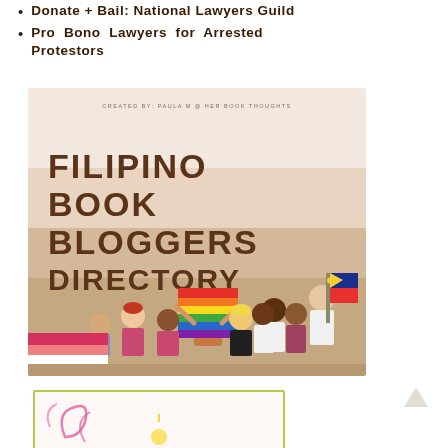Donate + Bail: National Lawyers Guild
Pro Bono Lawyers for Arrested Protestors
[Figure (illustration): Filipino Book Bloggers Directory graphic. Beige/tan gradient background with text 'FILIPINO BOOK BLOGGERS DIRECTORY' in bold dark brown letters. Small text at top: 'CREATED BY: PAULA M @ HER BOOK THOUGHTS'. Bottom half shows illustrated diverse group of people including someone holding a Pride flag, someone holding a Philippine flag, and others in various clothing styles.]
[Figure (illustration): Partial view of another illustrated image at bottom, with pink/magenta decorative swirls on a light background, bordered by an olive/yellow-green frame.]